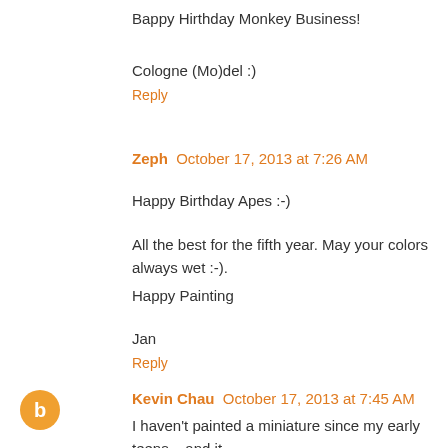Bappy Hirthday Monkey Business!
Cologne (Mo)del :)
Reply
Zeph  October 17, 2013 at 7:26 AM
Happy Birthday Apes :-)
All the best for the fifth year. May your colors always wet :-).
Happy Painting
Jan
Reply
Kevin Chau  October 17, 2013 at 7:45 AM
I haven't painted a miniature since my early teens... and it is not until I see MV last year, I started painting again (or